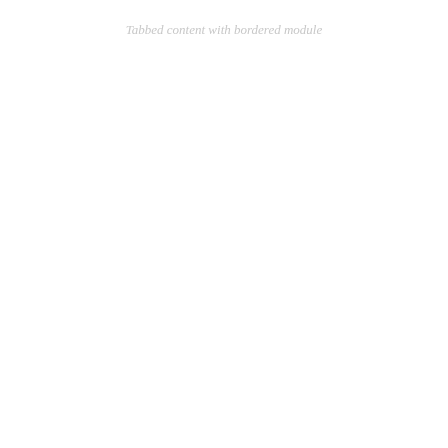Tabbed content with bordered module